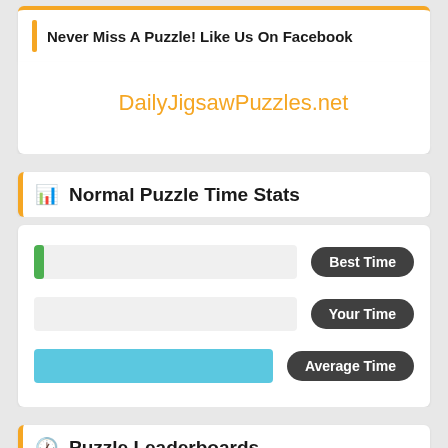Never Miss A Puzzle! Like Us On Facebook
DailyJigsawPuzzles.net
Normal Puzzle Time Stats
[Figure (infographic): Three horizontal bar rows: Best Time (green tiny bar), Your Time (empty bar), Average Time (full blue bar), each with a dark badge label on the right]
Puzzle Leaderboards